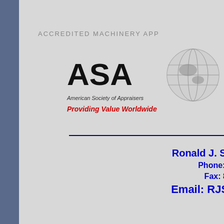ACCREDITED MACHINERY APP
[Figure (logo): ASA American Society of Appraisers logo with globe, tagline: Providing Value Worldwide]
Ronald J. Savil
Phone: 866.
Fax: 866.9
Email: RJSAV